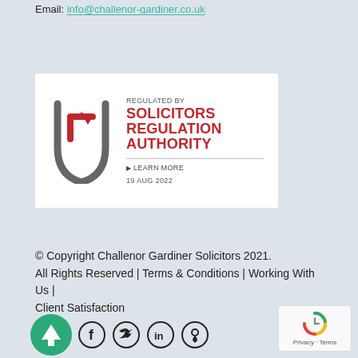Email: info@challenor-gardiner.co.uk
[Figure (logo): Solicitors Regulation Authority badge — shield/arrow logo with text: REGULATED BY SOLICITORS REGULATION AUTHORITY, LEARN MORE, 19 AUG 2022]
© Copyright Challenor Gardiner Solicitors 2021. All Rights Reserved | Terms & Conditions | Working With Us | Client Satisfaction
[Figure (infographic): Social media icons row: green circle with up arrow, Facebook, Twitter, LinkedIn, location pin]